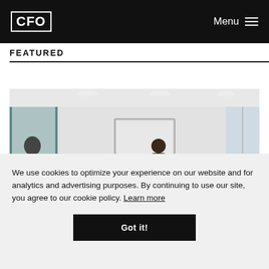CFO | Menu
FEATURED
[Figure (photo): Business meeting room: a person standing at a whiteboard/screen presenting to a group of colleagues seated around a conference table; glass partition on left, bright windows on right.]
We use cookies to optimize your experience on our website and for analytics and advertising purposes. By continuing to use our site, you agree to our cookie policy. Learn more
Got it!